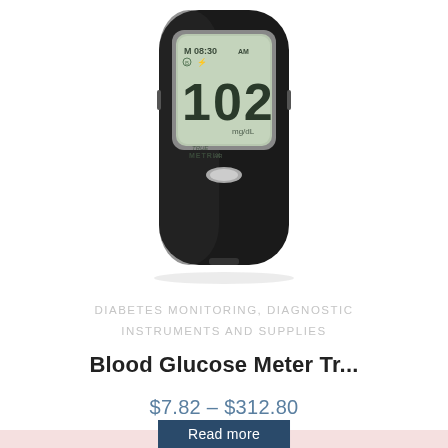[Figure (photo): A black blood glucose meter (TRUE METRIX AIR) displaying 102 mg/dL at 08:30 AM on its LCD screen, shown on a white background.]
DIABETES MONITORING, DIAGNOSTIC INSTRUMENTS AND SUPPLIES
Blood Glucose Meter Tr...
$7.82 – $312.80
Read more